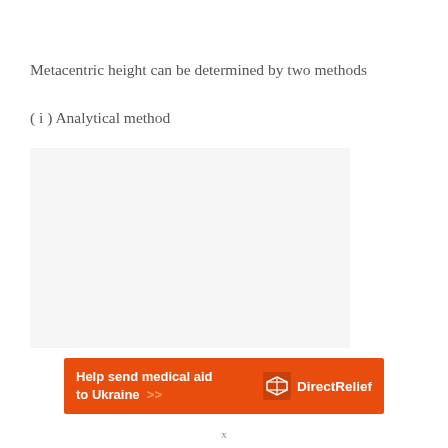Metacentric height can be determined by two methods
( i ) Analytical method
[Figure (illustration): Light gray rectangular box representing a diagram area for the analytical method of determining metacentric height]
[Figure (other): Advertisement banner: orange background with white bold text 'Help send medical aid to Ukraine >>' and DirectRelief logo on the right]
x